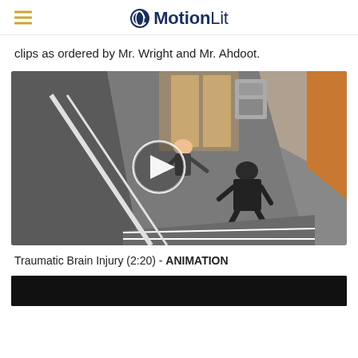MotionLit
clips as ordered by Mr. Wright and Mr. Ahdoot.
[Figure (screenshot): 3D animation screenshot showing two figures in a stairwell/elevator area, with a circular play button overlay in the center. The scene depicts a traumatic brain injury incident animation.]
Traumatic Brain Injury (2:20) - ANIMATION
[Figure (screenshot): Bottom portion of a dark/black video player thumbnail, partially visible at the bottom of the page.]